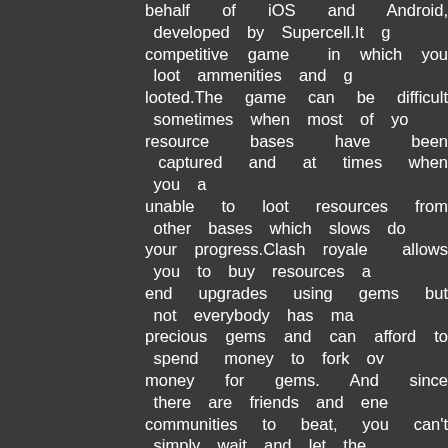behalf of iOS and Android, developed by Supercell.It is competitive game in which you loot ammenities and g looted.The game can be difficult sometimes when most of yo resource bases have been captured and at times when you a unable to loot resources from other bases which slows do your progress.Clash royale allows you to buy resources a end upgrades using gems but not everybody has ma precious gems and can afford to spend money to fork ov money for gems. And since there are friends and ene communities to beat, you can't simply wait and let the animals get ahead of you. So generate gems and progre easily and faster without worrying about spending money gems. Why Use Our Generator?? Simple and easy to use, t site gives you up to 9999 gems easily.The right working cla royale gems generator that actually works and is fu secured.With only a few clicks you can get gems for Cla Royale.You have probably tried many of these type of peri clash royale gems generators and none of them have work for you? But don't get discouraged because very o generator really works!!! You are only a few follows away fr generating lots of gems for your clash royale account so give